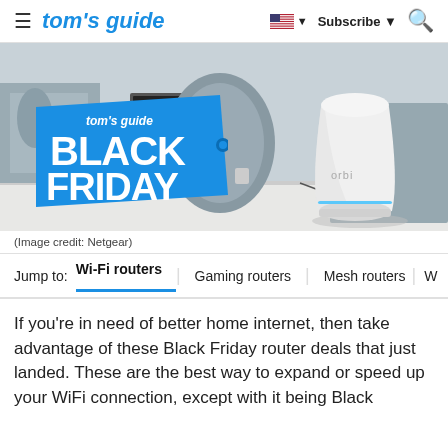tom's guide  |  Subscribe  [search]
[Figure (photo): Hero image showing a Netgear Orbi mesh router on a white desk in an office setting, with a Tom's Guide Black Friday price tag graphic overlaid on the left side.]
(Image credit: Netgear)
Jump to:  Wi-Fi routers | Gaming routers | Mesh routers | W
If you're in need of better home internet, then take advantage of these Black Friday router deals that just landed. These are the best way to expand or speed up your WiFi connection, except with it being Black